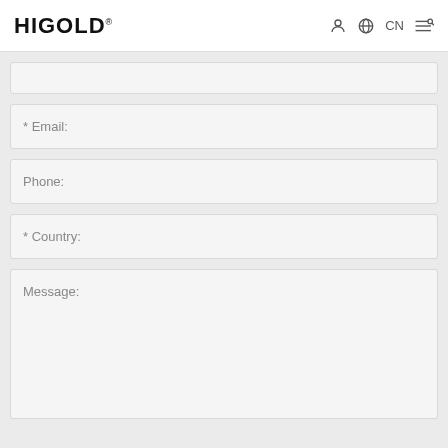HIGOLD CN
* Email:
Phone:
* Country:
Message: